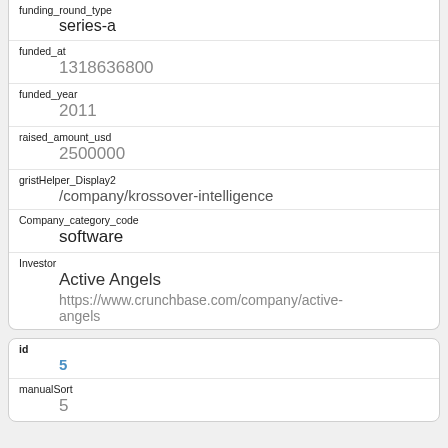| Field | Value |
| --- | --- |
| funding_round_type | series-a |
| funded_at | 1318636800 |
| funded_year | 2011 |
| raised_amount_usd | 2500000 |
| gristHelper_Display2 | /company/krossover-intelligence |
| Company_category_code | software |
| Investor | Active Angels
https://www.crunchbase.com/company/active-angels |
| Field | Value |
| --- | --- |
| id | 5 |
| manualSort | 5 |